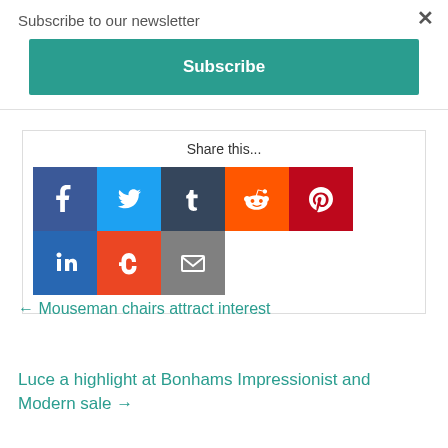Subscribe to our newsletter
Subscribe
Share this...
[Figure (infographic): Social share buttons: Facebook, Twitter, Tumblr, Reddit, Pinterest, LinkedIn, StumbleUpon, Email]
← Mouseman chairs attract interest
Luce a highlight at Bonhams Impressionist and Modern sale →